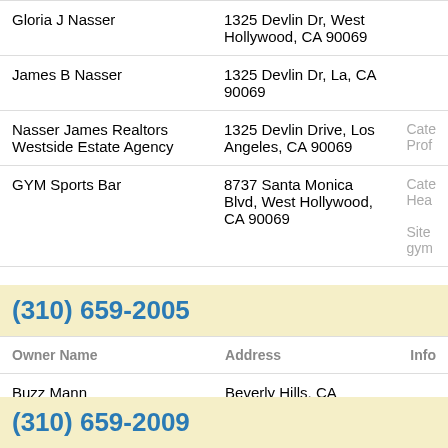| Owner Name | Address | Info |
| --- | --- | --- |
| Gloria J Nasser | 1325 Devlin Dr, West Hollywood, CA 90069 |  |
| James B Nasser | 1325 Devlin Dr, La, CA 90069 |  |
| Nasser James Realtors Westside Estate Agency | 1325 Devlin Drive, Los Angeles, CA 90069 | Cate... Prof... |
| GYM Sports Bar | 8737 Santa Monica Blvd, West Hollywood, CA 90069 | Cate... Hea... Site gym... |
(310) 659-2005
| Owner Name | Address | Info |
| --- | --- | --- |
| Buzz Mann | Beverly Hills, CA |  |
| Buzz Mann | 8900 Evanview Dr, West Hollywood, CA 90069 |  |
(310) 659-2009